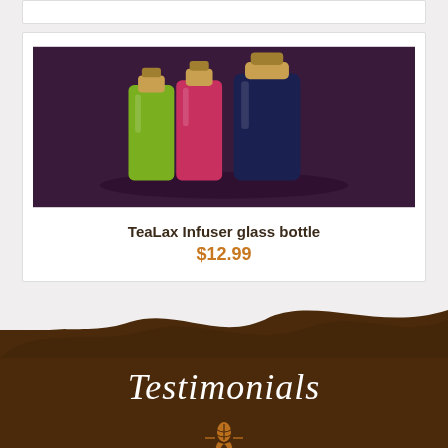[Figure (photo): Top portion of a product card, partially visible, white background with border]
[Figure (photo): Product photo showing TeaLax Infuser glass bottles in green, pink/red, and dark navy colors with metal tops, against a dark purple background]
TeaLax Infuser glass bottle
$12.99
Testimonials